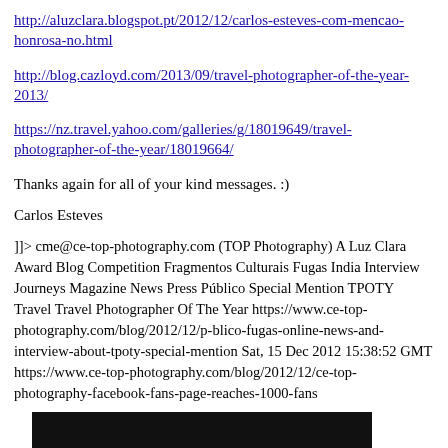http://aluzclara.blogspot.pt/2012/12/carlos-esteves-com-mencao-honrosa-no.html
http://blog.cazloyd.com/2013/09/travel-photographer-of-the-year-2013/
https://nz.travel.yahoo.com/galleries/g/18019649/travel-photographer-of-the-year/18019664/
Thanks again for all of your kind messages. :)
Carlos Esteves
]]> cme@ce-top-photography.com (TOP Photography) A Luz Clara Award Blog Competition Fragmentos Culturais Fugas India Interview Journeys Magazine News Press Público Special Mention TPOTY Travel Travel Photographer Of The Year https://www.ce-top-photography.com/blog/2012/12/p-blico-fugas-online-news-and-interview-about-tpoty-special-mention Sat, 15 Dec 2012 15:38:52 GMT https://www.ce-top-photography.com/blog/2012/12/ce-top-photography-facebook-fans-page-reaches-1000-fans
[Figure (photo): Black rectangular image area at the bottom of the page]